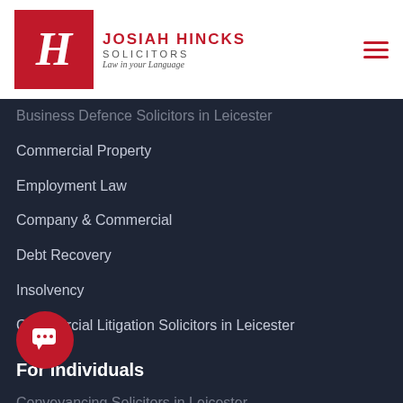[Figure (logo): Josiah Hincks Solicitors logo — red square with stylized H, company name and tagline 'Law in your Language']
Business Defence Solicitors in Leicester
Commercial Property
Employment Law
Company & Commercial
Debt Recovery
Insolvency
Commercial Litigation Solicitors in Leicester
For Individuals
Conveyancing Solicitors in Leicester
Family Law Solicitors in Leicester: